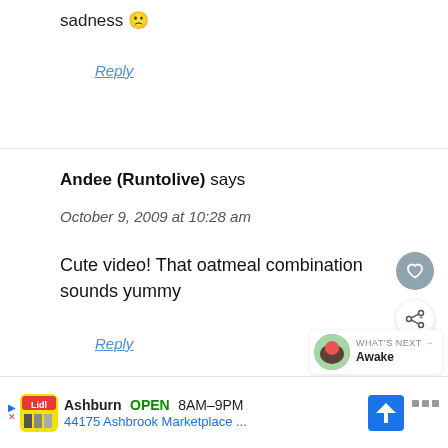sadness 🙁
Reply
Andee (Runtolive) says
October 9, 2009 at 10:28 am
Cute video! That oatmeal combination sounds yummy
Reply
[Figure (other): Heart icon button (grey circle with heart outline)]
[Figure (other): Share icon button (white circle with share/plus icon)]
[Figure (other): What's Next widget with avatar thumbnail and label 'WHAT'S NEXT → Awake']
[Figure (other): Advertisement bar: Lidl logo icon, Ashburn OPEN 8AM-9PM, 44175 Ashbrook Marketplace ..., direction arrow icon, menu icon]